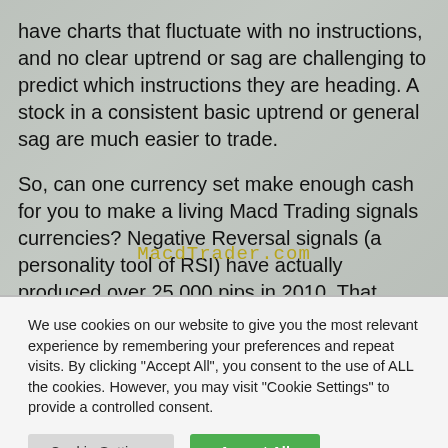have charts that fluctuate with no instructions, and no clear uptrend or sag are challenging to predict which instructions they are heading. A stock in a consistent basic uptrend or general sag are much easier to trade.
So, can one currency set make enough cash for you to make a living Macd Trading signals currencies? Negative Reversal signals (a personality tool of RSI) have actually produced over 25,000 pips in 2010. That ought to do it and if that isn't enough, Positive Reversals produced 15,000 pips.
We use cookies on our website to give you the most relevant experience by remembering your preferences and repeat visits. By clicking "Accept All", you consent to the use of ALL the cookies. However, you may visit "Cookie Settings" to provide a controlled consent.